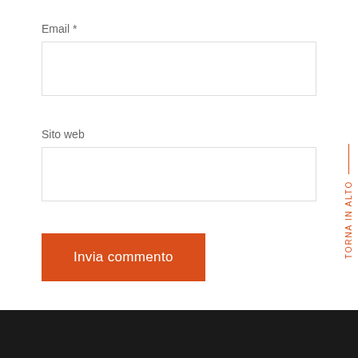Email *
Sito web
Invia commento
TORNA IN ALTO